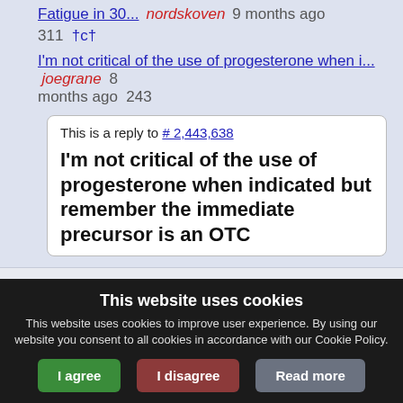Fatigue in 30...   nordskoven   9 months ago   311  †c†
I'm not critical of the use of progesterone when i...   joegrane   8 months ago   243
This is a reply to # 2,443,638
I'm not critical of the use of progesterone when indicated but remember the immediate precursor is an OTC
This website uses cookies
This website uses cookies to improve user experience. By using our website you consent to all cookies in accordance with our Cookie Policy.